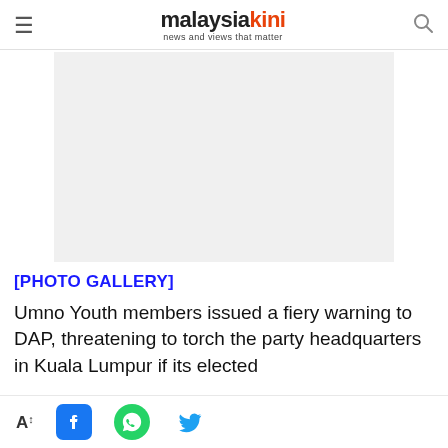malaysiakini — news and views that matter
[Figure (photo): Photo placeholder — light grey rectangle for an image (photo gallery)]
[PHOTO GALLERY]
Umno Youth members issued a fiery warning to DAP, threatening to torch the party headquarters in Kuala Lumpur if its elected